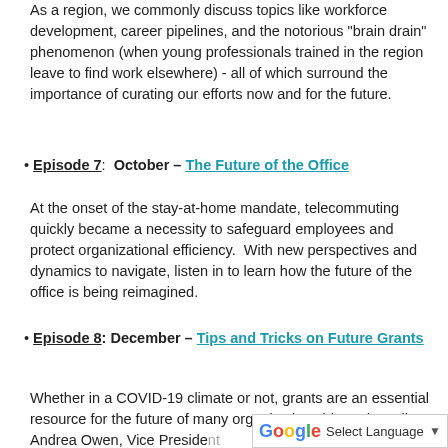As a region, we commonly discuss topics like workforce development, career pipelines, and the notorious "brain drain" phenomenon (when young professionals trained in the region leave to find work elsewhere) - all of which surround the importance of curating our efforts now and for the future.
• Episode 7:  October – The Future of the Office
At the onset of the stay-at-home mandate, telecommuting quickly became a necessity to safeguard employees and protect organizational efficiency.  With new perspectives and dynamics to navigate, listen in to learn how the future of the office is being reimagined.
• Episode 8: December – Tips and Tricks on Future Grants
Whether in a COVID-19 climate or not, grants are an essential resource for the future of many organizations big and small. Andrea Owen, Vice Preside... Associate will be providing major key...